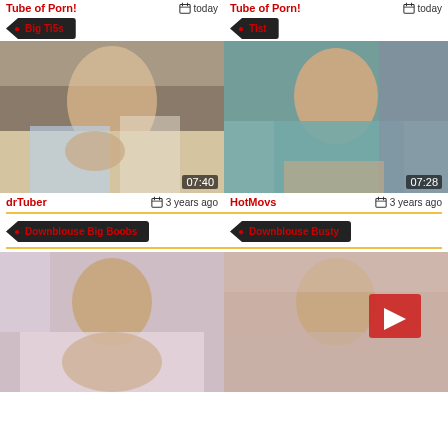Tube of Porn! today
Tube of Porn! today
Big Ti5s
Tist
[Figure (photo): Video thumbnail showing woman in kitchen, duration 07:40]
[Figure (photo): Video thumbnail showing woman in teal top, duration 07:28]
drTuber  3 years ago
HotMovs  3 years ago
Downblouse Big Boobs
Downblouse Busty
[Figure (photo): Video thumbnail showing woman on bed]
[Figure (photo): Video thumbnail showing woman on bed with play button overlay]